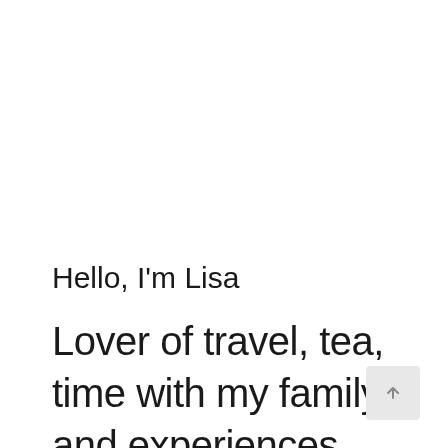Hello, I'm Lisa
Lover of travel, tea, time with my family and experiences.
[Figure (other): Scroll-to-top button with upward arrow icon, light gray background]